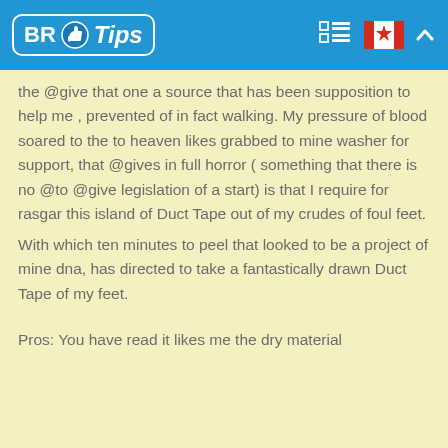BR Tips
the @give that one a source that has been supposition to help me , prevented of in fact walking. My pressure of blood soared to the to heaven likes grabbed to mine washer for support, that @gives in full horror ( something that there is no @to @give legislation of a start) is that I require for rasgar this island of Duct Tape out of my crudes of foul feet.
With which ten minutes to peel that looked to be a project of mine dna, has directed to take a fantastically drawn Duct Tape of my feet.
Pros: You have read it likes me the dry material